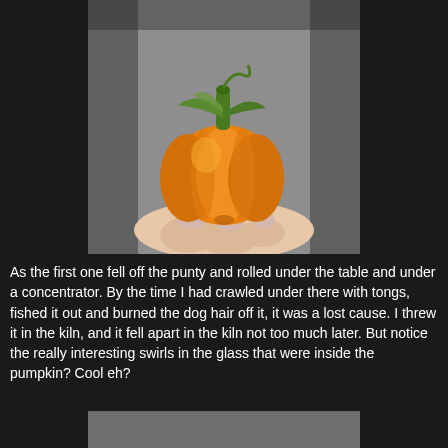[Figure (photo): A small orange glass pumpkin with green stem and leaves being held between fingers, photographed against a gray background.]
As the first one fell off the punty and rolled under the table and under a concentrator. By the time I had crawled under there with tongs, fished it out and burned the dog hair off it, it was a lost cause. I threw it in the kiln, and it fell apart in the kiln not too much later. But notice the really interesting swirls in the glass that were inside the pumpkin? Cool eh?
[Figure (photo): Partial view of another image at the bottom of the page (cut off).]